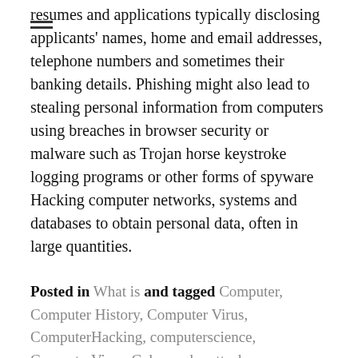resumes and applications typically disclosing applicants' names, home and email addresses, telephone numbers and sometimes their banking details. Phishing might also lead to stealing personal information from computers using breaches in browser security or malware such as Trojan horse keystroke logging programs or other forms of spyware Hacking computer networks, systems and databases to obtain personal data, often in large quantities.
Posted in What is and tagged Computer, Computer History, Computer Virus, ComputerHacking, computerscience, ComputerVirus, Cyber, cyberattack, CyberCrime, CyberCrimes, CyberSecurity, cybersecurityawareness, dataprotection, datasecurity, ethicalhacker, ethicalhacking, hack, Hackers, Hacking,